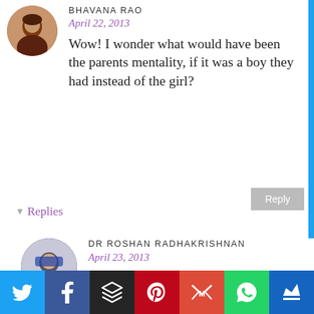BHAVANA RAO
April 22, 2013
Wow! I wonder what would have been the parents mentality, if it was a boy they had instead of the girl?
Reply
Replies
DR ROSHAN RADHAKRISHNAN
April 23, 2013
I'd rather not think of what
[Figure (infographic): Social share bar with Twitter, Facebook, Buffer, Pinterest, Gmail, WhatsApp, and Crown icons]